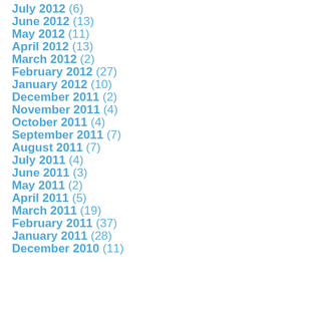July 2012 (6)
June 2012 (13)
May 2012 (11)
April 2012 (13)
March 2012 (2)
February 2012 (27)
January 2012 (10)
December 2011 (2)
November 2011 (4)
October 2011 (4)
September 2011 (7)
August 2011 (7)
July 2011 (4)
June 2011 (3)
May 2011 (2)
April 2011 (5)
March 2011 (19)
February 2011 (37)
January 2011 (28)
December 2010 (11)